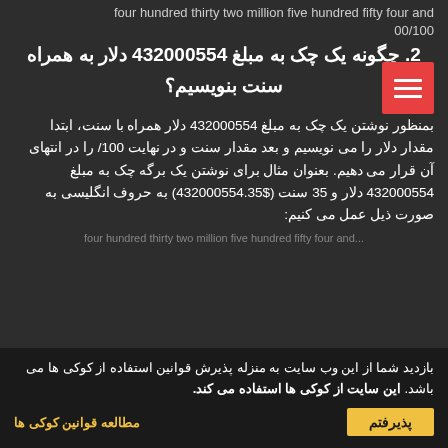four hundred thirty two million five hundred fifty four and 00/100
2. چگونه یک چک به مبلغ 432000554 دلار به همراه سنت بنویسیم؟
بمنظور نوشتن یک چک به مبلغ 432000554 دلار همراه با سنت، ابتدا مقدار دلار را می نویسیم و بعد مقدار سنت و در نهایت 100/ را در انتهای آن قرار می دهیم. بعنوان مثال برای نوشتن یک برگه چک به مبلغ 432000554 دلار و 35 سنت ($432000554.35) به حروف انگلیسی به صورت ذیل عمل می کنیم:
four hundred thirty two million five hundred fifty four and...
بازدید شما از این وب سایت به منزله پذیرش قوانین استفاده از کوکی ها می باشد. این سایت از کوکی ها استفاده می کند.
مطالعه قوانین کوکی ها
پذیرفتم